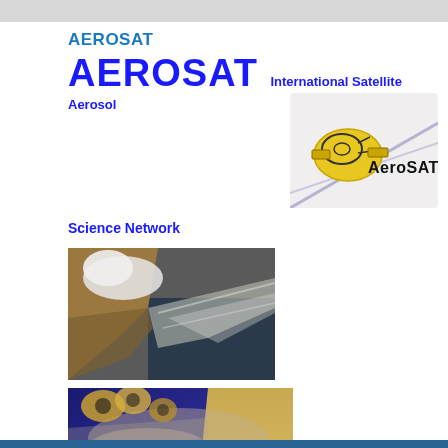AEROSAT
AEROSAT   International Satellite Aerosol
[Figure (logo): AeroSAT logo with satellite dish icon and 'AeroSAT' text on light background]
Science Network
[Figure (photo): Satellite image showing aerosol/dust plumes over ocean and land from above]
[Figure (photo): Satellite image showing dust plumes over blue ocean near coastal desert region]